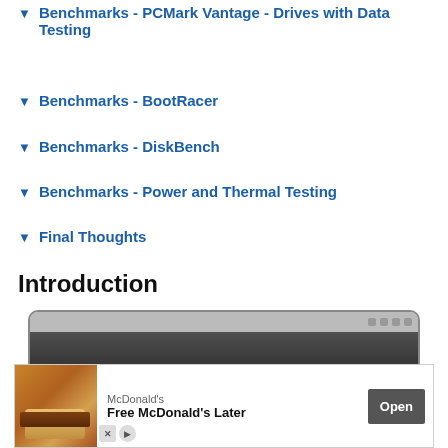Benchmarks - PCMark Vantage - Drives with Data Testing
Benchmarks - BootRacer
Benchmarks - DiskBench
Benchmarks - Power and Thermal Testing
Final Thoughts
Introduction
[Figure (photo): Top-down photo of a dark external hard drive or SSD enclosure device]
[Figure (photo): McDonald's advertisement banner showing food image, 'Free McDonald's Later' text, and Open button]